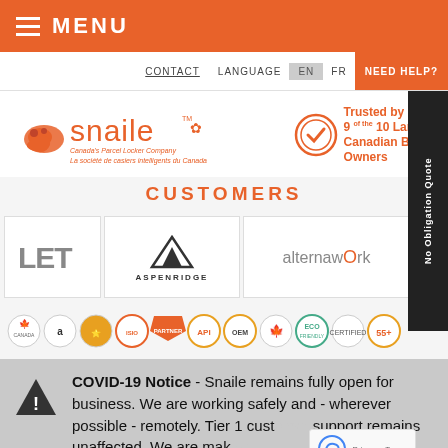MENU
CONTACT  LANGUAGE  EN  FR  NEED HELP?
[Figure (logo): Snaile logo with maple leaf - Canada's Parcel Locker Company / La société de casiers intelligents du Canada. Trusted by 9 of the 10 Largest Canadian Building Owners badge.]
CUSTOMERS
[Figure (illustration): Customer logo carousel showing partial LET logo, ASPENRIDGE logo with mountain icon, alternawork logo, and partial fourth logo]
[Figure (illustration): Row of certification and trust badges including Canadian made, Amazon, and other partner badges]
COVID-19 Notice - Snaile remains fully open for business. We are working safely and - wherever possible - remotely. Tier 1 customer support remains unaffected. We are making